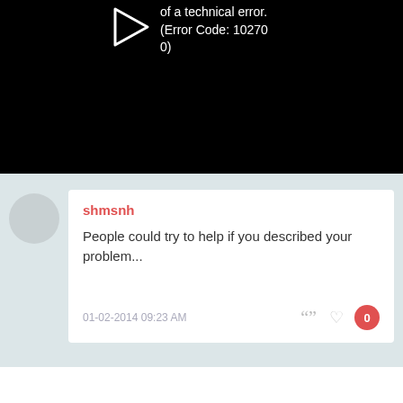[Figure (screenshot): Black video player area showing error text: 'of a technical error. (Error Code: 102700)' with a play button arrow icon on the left]
shmsnh
People could try to help if you described your problem...
01-02-2014 09:23 AM